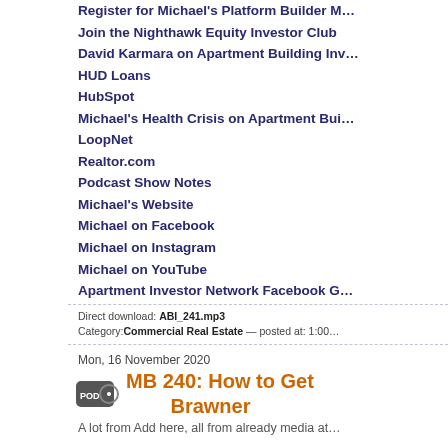Register for Michael's Platform Builder M...
Join the Nighthawk Equity Investor Club
David Karmara on Apartment Building Inv...
HUD Loans
HubSpot
Michael's Health Crisis on Apartment Bui...
LoopNet
Realtor.com
Podcast Show Notes
Michael's Website
Michael on Facebook
Michael on Instagram
Michael on YouTube
Apartment Investor Network Facebook G...
Direct download: ABI_241.mp3
Category:Commercial Real Estate — posted at: 1:00...
Mon, 16 November 2020
MB 240: How to Get Brawner